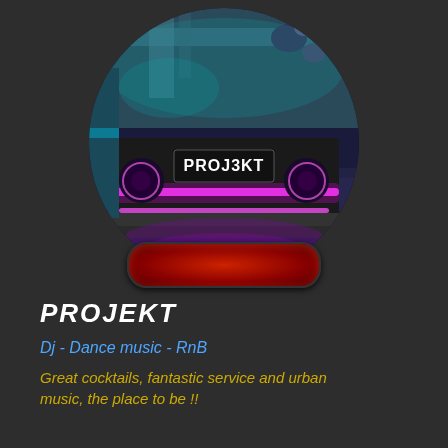[Figure (photo): Circular photo of a nightclub interior showing a DJ booth with 'PROJ3KT' logo, purple/pink LED lighting, teal ceiling lights, and a red rounded rectangular button/speaker below]
PROJEKT
Dj - Dance music - RnB
Great cocktails, fantastic service and urban music, the place to be !!